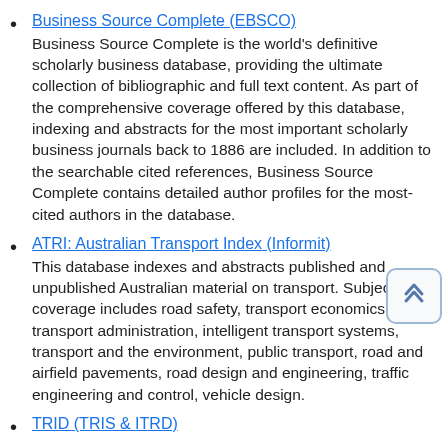Business Source Complete (EBSCO)
Business Source Complete is the world's definitive scholarly business database, providing the ultimate collection of bibliographic and full text content. As part of the comprehensive coverage offered by this database, indexing and abstracts for the most important scholarly business journals back to 1886 are included. In addition to the searchable cited references, Business Source Complete contains detailed author profiles for the most-cited authors in the database.
ATRI: Australian Transport Index (Informit)
This database indexes and abstracts published and unpublished Australian material on transport. Subject coverage includes road safety, transport economics, transport administration, intelligent transport systems, transport and the environment, public transport, road and airfield pavements, road design and engineering, traffic engineering and control, vehicle design.
TRID (TRIS & ITRD)